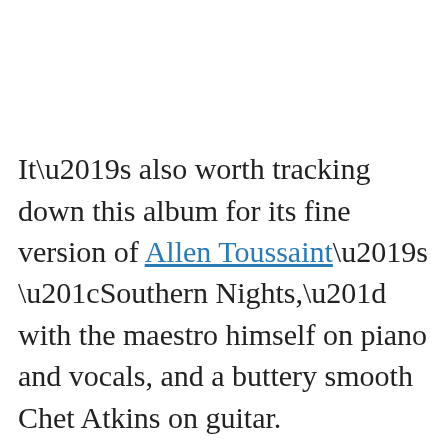It’s also worth tracking down this album for its fine version of Allen Toussaint’s “Southern Nights,” with the maestro himself on piano and vocals, and a buttery smooth Chet Atkins on guitar.